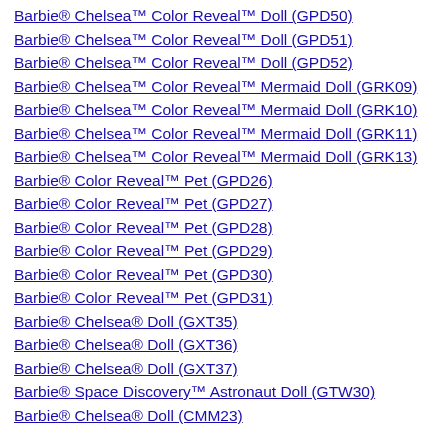Barbie® Chelsea™ Color Reveal™ Doll (GPD50)
Barbie® Chelsea™ Color Reveal™ Doll (GPD51)
Barbie® Chelsea™ Color Reveal™ Doll (GPD52)
Barbie® Chelsea™ Color Reveal™ Mermaid Doll (GRK09)
Barbie® Chelsea™ Color Reveal™ Mermaid Doll (GRK10)
Barbie® Chelsea™ Color Reveal™ Mermaid Doll (GRK11)
Barbie® Chelsea™ Color Reveal™ Mermaid Doll (GRK13)
Barbie® Color Reveal™ Pet (GPD26)
Barbie® Color Reveal™ Pet (GPD27)
Barbie® Color Reveal™ Pet (GPD28)
Barbie® Color Reveal™ Pet (GPD29)
Barbie® Color Reveal™ Pet (GPD30)
Barbie® Color Reveal™ Pet (GPD31)
Barbie® Chelsea® Doll (GXT35)
Barbie® Chelsea® Doll (GXT36)
Barbie® Chelsea® Doll (GXT37)
Barbie® Space Discovery™ Astronaut Doll (GTW30)
Barbie® Chelsea® Doll (CMM23)